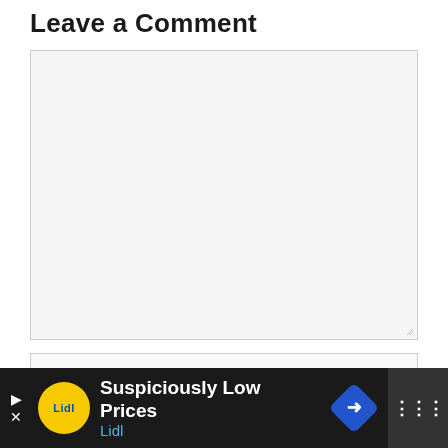Leave a Comment
[Figure (screenshot): Empty comment textarea input box with resize handle in bottom-right corner, light gray background]
[Figure (screenshot): Name input field with placeholder text 'Name *']
[Figure (screenshot): Email input field partially visible at bottom]
[Figure (screenshot): Advertisement banner for Lidl 'Suspiciously Low Prices' with yellow Lidl logo, navigation arrow icon, and dark background]